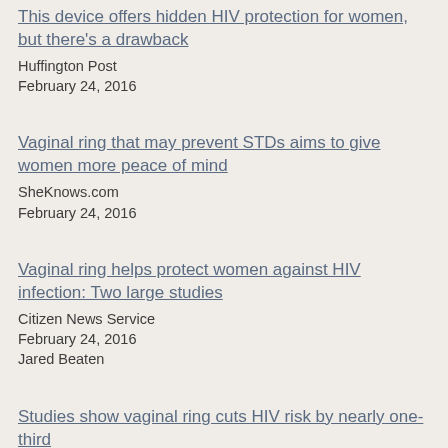This device offers hidden HIV protection for women, but there's a drawback
Huffington Post
February 24, 2016
Vaginal ring that may prevent STDs aims to give women more peace of mind
SheKnows.com
February 24, 2016
Vaginal ring helps protect women against HIV infection: Two large studies
Citizen News Service
February 24, 2016
Jared Beaten
Studies show vaginal ring cuts HIV risk by nearly one-third
CCTV Africa (includes video)